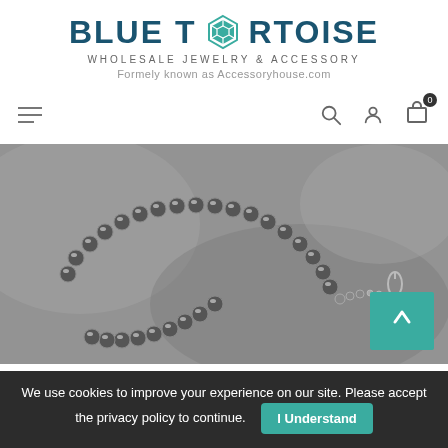[Figure (logo): Blue Tortoise Wholesale Jewelry & Accessory logo with teal tortoise shell icon between 'BLUE T' and 'RTOISE' text]
WHOLESALE JEWELRY & ACCESSORY
Formely known as Accessoryhouse.com
[Figure (screenshot): Navigation bar with hamburger menu icon on left, and search, account, and cart icons on right with a 0 badge on cart]
[Figure (photo): Close-up photo of a silver beaded necklace (Navajo pearl style) laid on a gray stone surface, with a lobster clasp and extension chain visible]
We use cookies to improve your experience on our site. Please accept the privacy policy to continue.
I Understand